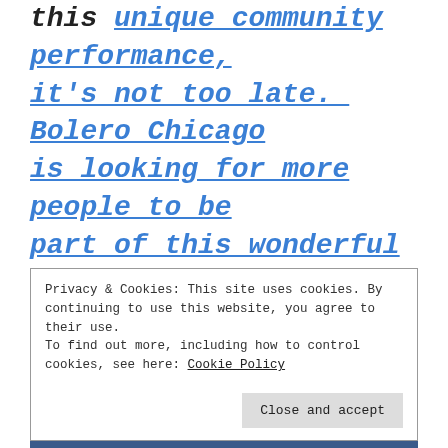this unique community performance, it's not too late. Bolero Chicago is looking for more people to be part of this wonderful community of dancers…stop by rehearsal tonite, 6pm, at Nicholas Senn High School Gymnasium – 5900 N Glenwood Ave, Door #10 to get
Privacy & Cookies: This site uses cookies. By continuing to use this website, you agree to their use. To find out more, including how to control cookies, see here: Cookie Policy Close and accept
[Figure (photo): Partial photo strip at bottom showing what appears to be a wooden floor and a blue background, partially cut off.]